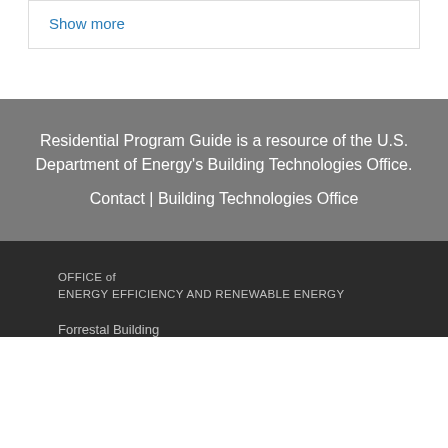Show more
Residential Program Guide is a resource of the U.S. Department of Energy's Building Technologies Office.
Contact | Building Technologies Office
OFFICE of
ENERGY EFFICIENCY AND RENEWABLE ENERGY
Forrestal Building